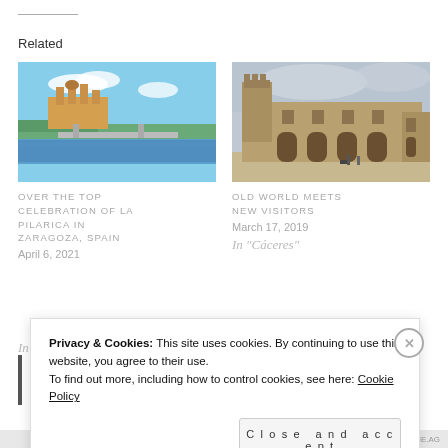Related
[Figure (photo): Aerial view of Zaragoza, Spain showing the Basilica de Nuestra Señora del Pilar and the Ebro River with a bridge]
OVER THE TOP CELEBRATION OF LA PILARICA IN ZARAGOZA, SPAIN
April 6, 2021
[Figure (photo): Old stone building with arches and towers in Cáceres, Spain, with a person and dog in the foreground]
OLD WORLD MEETS NEW VISITORS
March 17, 2019
In "Cáceres"
Privacy & Cookies: This site uses cookies. By continuing to use this website, you agree to their use.
To find out more, including how to control cookies, see here: Cookie Policy
Close and accept